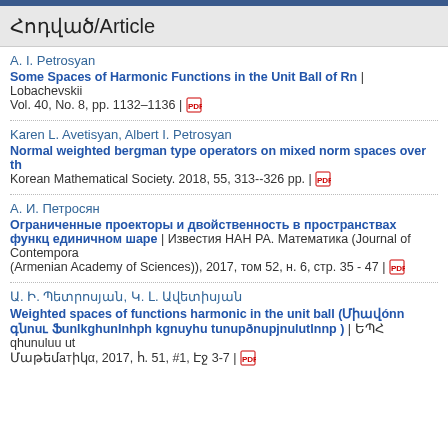Հոդված/Article
A. I. Petrosyan
Some Spaces of Harmonic Functions in the Unit Ball of Rn | Lobachevskii Vol. 40, No. 8, pp. 1132–1136 |
Karen L. Avetisyan, Albert I. Petrosyan
Normal weighted bergman type operators on mixed norm spaces over th Korean Mathematical Society. 2018, 55, 313--326 pp. |
А. И. Петросян
Ограниченные проекторы и двойственность в пространствах функций единичном шаре | Известия НАН РА. Математика (Journal of Contempora (Armenian Academy of Sciences)), 2017, том 52, н. 6, стр. 35 - 47 |
Ա. Ի. Պետրոսյան, Կ. Լ. Ավետիսյան
Weighted spaces of functions harmonic in the unit ball (Միավոր գնդու Ֆունկցիաների կշռային տարածությունները ) | ԵՊՀ գիտական տե Մաթեմাtիկա, 2017, հ. 51, #1, Էջ 3-7 |